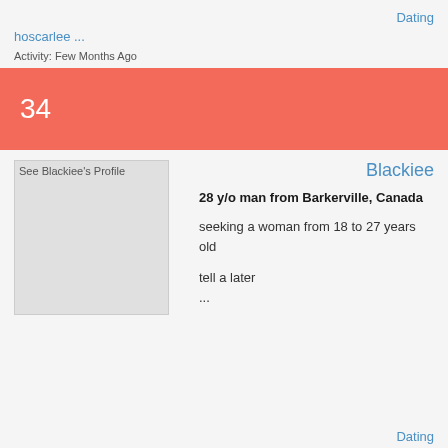Dating
hoscarlee ...
Activity: Few Months Ago
34
[Figure (photo): See Blackiee's Profile - placeholder image]
Blackiee
28 y/o man from Barkerville, Canada
seeking a woman from 18 to 27 years old
tell a later ...
Dating